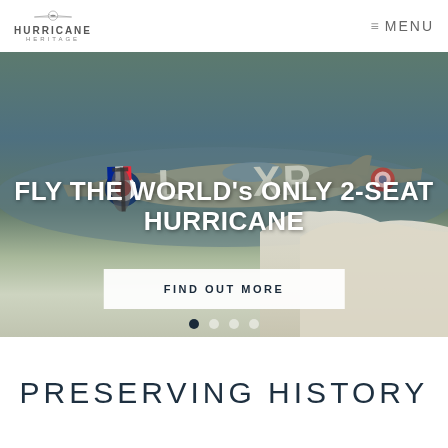[Figure (logo): Hurricane Heritage logo with circular wing emblem above text HURRICANE HERITAGE]
≡ MENU
[Figure (photo): Aerial photograph of a two-seat Hawker Hurricane aircraft marked L·XP flying over the White Cliffs of Dover with the sea and green fields visible below]
FLY THE WORLD's ONLY 2-SEAT HURRICANE
FIND OUT MORE
PRESERVING HISTORY